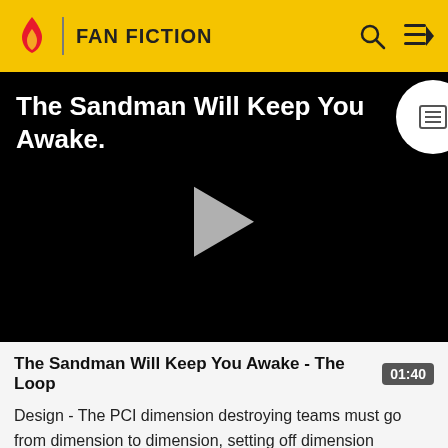FAN FICTION
[Figure (screenshot): Video player with black background showing title 'The Sandman Will Keep You Awake.' and a play button in the center]
The Sandman Will Keep You Awake - The Loop
Design - The PCI dimension destroying teams must go from dimension to dimension, setting off dimension destroyers. Of those visited is Lego Land, a Slime World